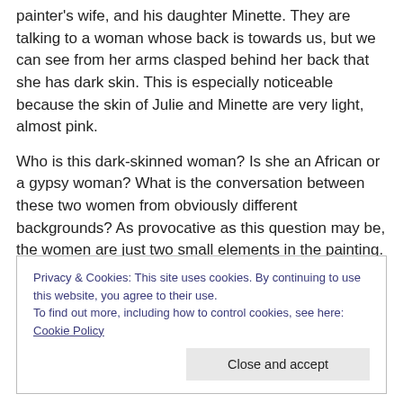painter's wife, and his daughter Minette. They are talking to a woman whose back is towards us, but we can see from her arms clasped behind her back that she has dark skin. This is especially noticeable because the skin of Julie and Minette are very light, almost pink.
Who is this dark-skinned woman?  Is she an African or a gypsy woman?  What is the conversation between these two women from obviously different backgrounds?  As provocative as this question may be, the women are just two small elements in the painting. The difference in skin-
Privacy & Cookies: This site uses cookies. By continuing to use this website, you agree to their use.
To find out more, including how to control cookies, see here: Cookie Policy